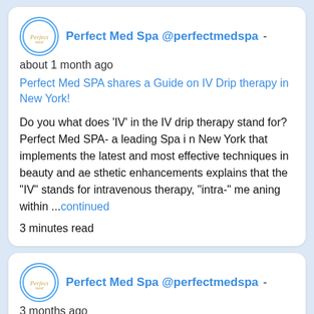[Figure (screenshot): Social media post card from Perfect Med Spa @perfectmedspa, posted about 1 month ago, with link title and body text about IV drip therapy in New York.]
Perfect Med Spa @perfectmedspa -
about 1 month ago
Perfect Med SPA shares a Guide on IV Drip therapy in New York!
Do you what does 'IV' in the IV drip therapy stand for? Perfect Med SPA- a leading Spa in New York that implements the latest and most effective techniques in beauty and aesthetic enhancements explains that the "IV" stands for intravenous therapy, "intra-" meaning within ...continued
3 minutes read
[Figure (screenshot): Second social media post card from Perfect Med Spa @perfectmedspa, posted 3 months ago, partially visible.]
Perfect Med Spa @perfectmedspa -
3 months ago